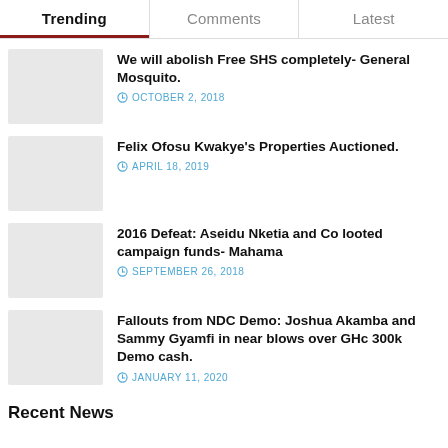Trending | Comments | Latest
We will abolish Free SHS completely- General Mosquito.
OCTOBER 2, 2018
Felix Ofosu Kwakye's Properties Auctioned.
APRIL 18, 2019
2016 Defeat: Aseidu Nketia and Co looted campaign funds- Mahama
SEPTEMBER 26, 2018
Fallouts from NDC Demo: Joshua Akamba and Sammy Gyamfi in near blows over GHc 300k Demo cash.
JANUARY 11, 2020
Recent News